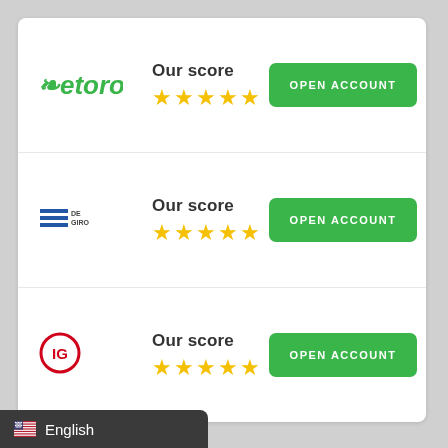[Figure (logo): eToro logo in green italic with bull horns]
Our score
[Figure (other): 5 gold stars rating]
OPEN ACCOUNT
[Figure (logo): DeGiro logo with blue lines and text]
Our score
[Figure (other): 5 gold stars rating]
OPEN ACCOUNT
[Figure (logo): IG logo in red circle]
Our score
[Figure (other): 5 gold stars rating]
OPEN ACCOUNT
English